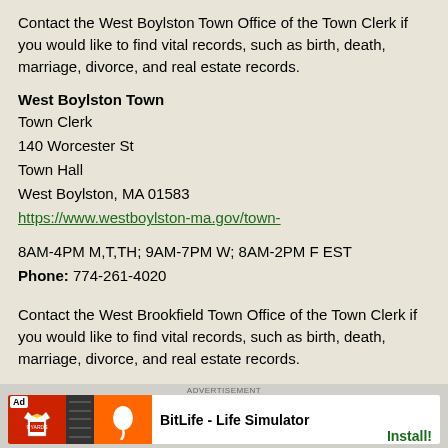Contact the West Boylston Town Office of the Town Clerk if you would like to find vital records, such as birth, death, marriage, divorce, and real estate records.
West Boylston Town
Town Clerk
140 Worcester St
Town Hall
West Boylston, MA 01583
https://www.westboylston-ma.gov/town-
8AM-4PM M,T,TH; 9AM-7PM W; 8AM-2PM F EST
Phone: 774-261-4020
Contact the West Brookfield Town Office of the Town Clerk if you would like to find vital records, such as birth, death, marriage, divorce, and real estate records.
West Brookfield Town
Town Clerk
2 E Main St, Main Fl
Town Hall
ADVERTISEMENT